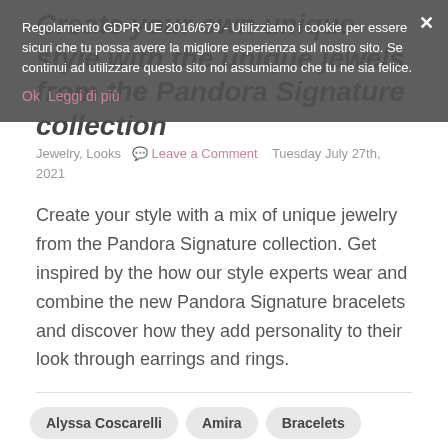Regolamento GDPR UE 2016/679 - Utilizziamo i cookie per essere sicuri che tu possa avere la migliore esperienza sul nostro sito. Se continui ad utilizzare questo sito noi assumiamo che tu ne sia felice.
Ok  Leggi di più
Create your own unique style with the unique jewels from the Pandora Signature collection
Jewelry, Looks  Leave a Comment  Tuesday July 27th, 2021
Create your style with a mix of unique jewelry from the Pandora Signature collection. Get inspired by the how our style experts wear and combine the new Pandora Signature bracelets and discover how they add personality to their look through earrings and rings.
Alyssa Coscarelli
Amira
Bracelets
Gioielli
influencer
jewel
Jewelle
jewellery
Jewelry
Jewels
Lauren Caruso
Look
Nisi
Pandora